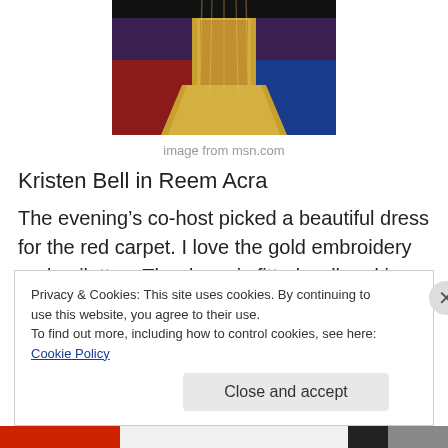[Figure (photo): Photo of the lower portion of a gold embroidered dress on a colorful carpet with red, purple, and blue sections]
image from msn.com
Kristen Bell in Reem Acra
The evening’s co-host picked a beautiful dress for the red carpet. I love the gold embroidery and pailettes. The dress is fitted well and is actually both modest and gorgeous.
Privacy & Cookies: This site uses cookies. By continuing to use this website, you agree to their use.
To find out more, including how to control cookies, see here: Cookie Policy
Close and accept